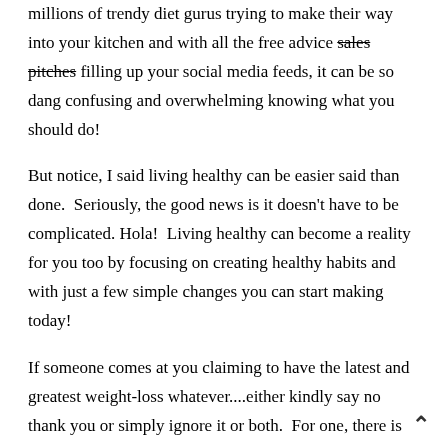millions of trendy diet gurus trying to make their way into your kitchen and with all the free advice sales pitches filling up your social media feeds, it can be so dang confusing and overwhelming knowing what you should do!
But notice, I said living healthy can be easier said than done.  Seriously, the good news is it doesn't have to be complicated. Hola!  Living healthy can become a reality for you too by focusing on creating healthy habits and with just a few simple changes you can start making today!
If someone comes at you claiming to have the latest and greatest weight-loss whatever....either kindly say no thank you or simply ignore it or both.  For one, there is